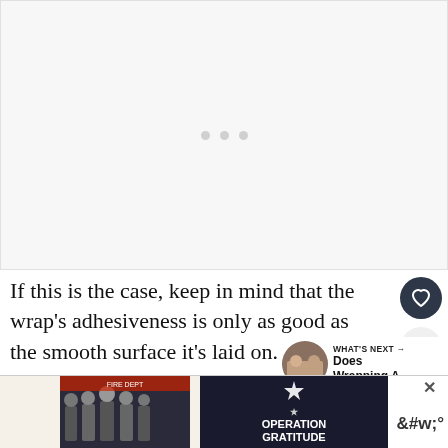[Figure (other): Empty light gray image placeholder area with three small gray dots in the upper center area]
If this is the case, keep in mind that the wrap's adhesiveness is only as good as the smooth surface it's laid on.
[Figure (other): What's Next section with thumbnail of people in a fire station and text 'Does Wrapping A...']
Any imperfections beneath the wrap will appear on th
[Figure (other): Advertisement banner with 'Thank you!' text on a handwritten note style left side, and 'Operation Gratitude' logo on dark right side, with a close button (X) and Tidal music icon]